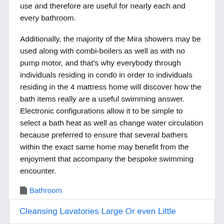use and therefore are useful for nearly each and every bathroom.
Additionally, the majority of the Mira showers may be used along with combi-boilers as well as with no pump motor, and that's why everybody through individuals residing in condo in order to individuals residing in the 4 mattress home will discover how the bath items really are a useful swimming answer. Electronic configurations allow it to be simple to select a bath heat as well as change water circulation because preferred to ensure that several bathers within the exact same home may benefit from the enjoyment that accompany the bespoke swimming encounter.
Bathroom
Cleansing Lavatories Large Or even Little